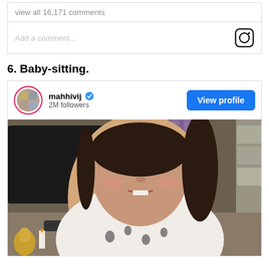view all 16,171 comments
Add a comment...
6. Baby-sitting.
[Figure (screenshot): Instagram profile card for user mahhivij with 2M followers, verified badge, View profile button, and a photo/video thumbnail showing a woman speaking to camera in a patterned top, with a room background including curtains and furniture.]